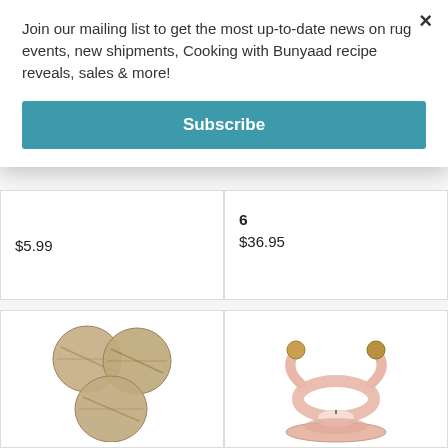Join our mailing list to get the most up-to-date news on rug events, new shipments, Cooking with Bunyaad recipe reveals, sales & more!
Subscribe
$5.99
6
$36.95
[Figure (photo): Three round sisal/jute scrubbing pads]
[Figure (photo): Pink ceramic frog tealight candle holder with wooden bead eyes and a lit tealight candle]